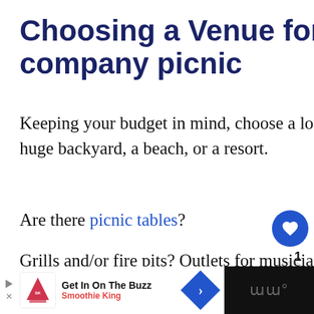Choosing a Venue for your company picnic
Keeping your budget in mind, choose a location. This may be a park, someone’s huge backyard, a beach, or a resort.
Are there picnic tables?
Grills and/or fire pits? Outlets for musicians, space heaters, or slow-cookers?
Get In On The Buzz
Smoothie King